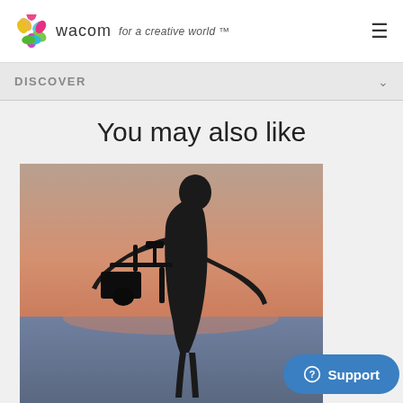[Figure (logo): Wacom logo with colorful flower icon and tagline 'for a creative world']
DISCOVER
You may also like
[Figure (photo): Silhouette of a person holding a camera gimbal against a warm sunset sky over water]
Support